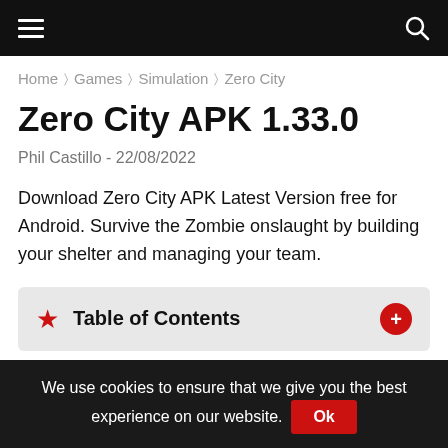≡  🔍
Home > Games > Simulation > Zero City
Zero City APK 1.33.0
Phil Castillo - 22/08/2022
Download Zero City APK Latest Version free for Android. Survive the Zombie onslaught by building your shelter and managing your team.
Table of Contents
We use cookies to ensure that we give you the best experience on our website.  Ok